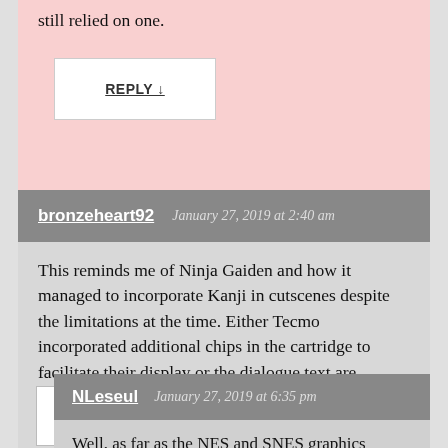still relied on one.
REPLY ↓
bronzeheart92   January 27, 2019 at 2:40 am
This reminds me of Ninja Gaiden and how it managed to incorporate Kanji in cutscenes despite the limitations at the time. Either Tecmo incorporated additional chips in the cartridge to facilitate their display or the dialogue text are actually images. Either way, it's quite impressive.
REPLY ↓
NLeseul   January 27, 2019 at 6:35 pm
Well, as far as the NES and SNES graphics hardware is concerned, there's no